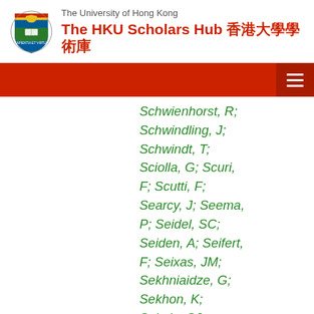The University of Hong Kong — The HKU Scholars Hub 香港大學學術庫
Schwienhorst, R; Schwindling, J; Schwindt, T; Sciolla, G; Scuri, F; Scutti, F; Searcy, J; Seema, P; Seidel, SC; Seiden, A; Seifert, F; Seixas, JM; Sekhniaidze, G; Sekhon, K; Sekula, SJ; Seliverstov, DM; Semprini-Cesari, N; Serfon, C; Serin, L; Serkin, L; Sessa, M;